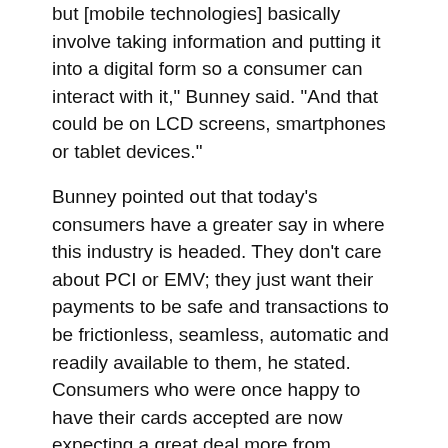but [mobile technologies] basically involve taking information and putting it into a digital form so a consumer can interact with it," Bunney said. "And that could be on LCD screens, smartphones or tablet devices."
Bunney pointed out that today's consumers have a greater say in where this industry is headed. They don't care about PCI or EMV; they just want their payments to be safe and transactions to be frictionless, seamless, automatic and readily available to them, he stated. Consumers who were once happy to have their cards accepted are now expecting a great deal more from service providers, and we'll see more demand from them as payments technology continues to evolve, he added.
Innovation lab